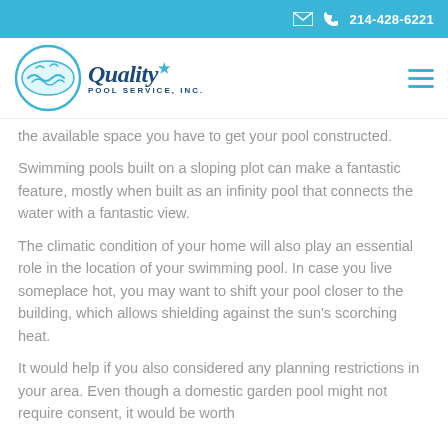✉ 📞 214-428-6221
[Figure (logo): Quality Pool Service, Inc. logo with circular pool graphic and company name]
the available space you have to get your pool constructed.
Swimming pools built on a sloping plot can make a fantastic feature, mostly when built as an infinity pool that connects the water with a fantastic view.
The climatic condition of your home will also play an essential role in the location of your swimming pool. In case you live someplace hot, you may want to shift your pool closer to the building, which allows shielding against the sun's scorching heat.
It would help if you also considered any planning restrictions in your area. Even though a domestic garden pool might not require consent, it would be worth